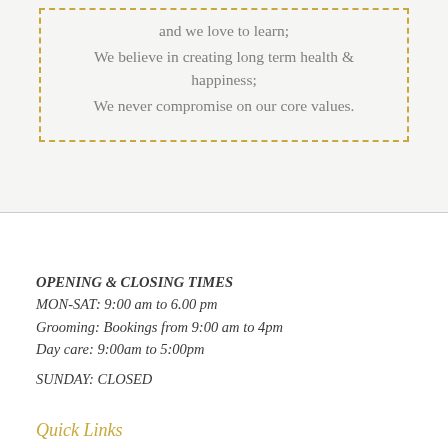and we love to learn;
We believe in creating long term health & happiness;
We never compromise on our core values.
OPENING & CLOSING TIMES
MON-SAT: 9:00 am to 6.00 pm
Grooming: Bookings from 9:00 am to 4pm
Day care: 9:00am to 5:00pm
SUNDAY: CLOSED
Quick Links